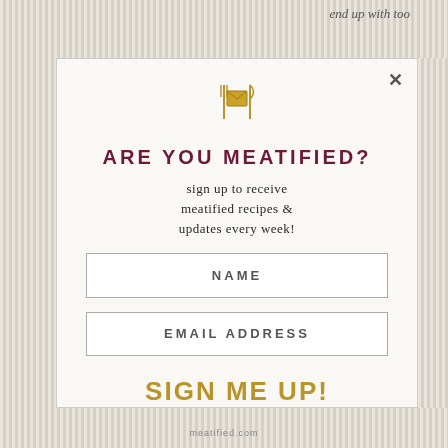end up with too
[Figure (illustration): Email envelope icon with fork and knife on sides, gold/yellow color]
ARE YOU MEATIFIED?
sign up to receive meatified recipes & updates every week!
NAME
EMAIL ADDRESS
SIGN ME UP!
meatified.com